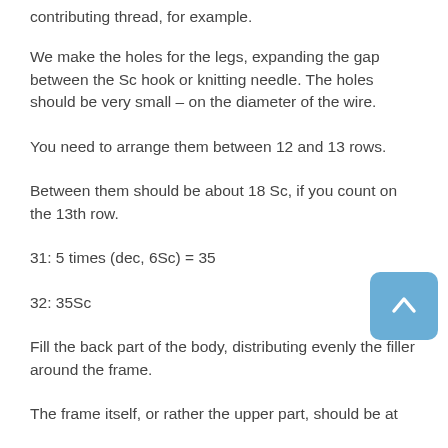contributing thread, for example.
We make the holes for the legs, expanding the gap between the Sc hook or knitting needle. The holes should be very small – on the diameter of the wire.
You need to arrange them between 12 and 13 rows.
Between them should be about 18 Sc, if you count on the 13th row.
31: 5 times (dec, 6Sc) = 35
32: 35Sc
Fill the back part of the body, distributing evenly the filler around the frame.
The frame itself, or rather the upper part, should be at